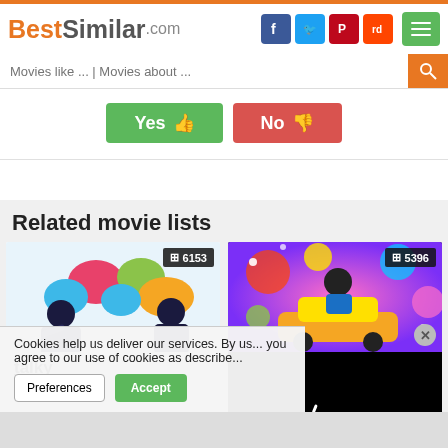BestSimilar.com
Movies like ... | Movies about ...
[Figure (screenshot): Yes thumbs up button (green) and No thumbs down button (red)]
Related movie lists
[Figure (illustration): Colorful speech bubble silhouettes graphic with badge showing 6153]
talky
[Figure (illustration): Colorful psychedelic party scene graphic with badge showing 5396 and a loading spinner on black]
Cookies help us deliver our services. By us... you agree to our use of cookies as describe...
Preferences
Accept